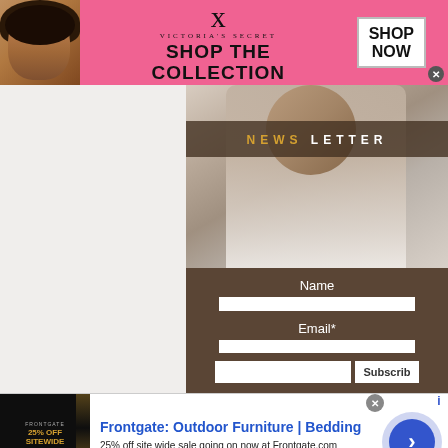[Figure (screenshot): Victoria's Secret banner advertisement with model photo on left, VS logo and 'SHOP THE COLLECTION' text in center, and 'SHOP NOW' button on right, on pink background]
[Figure (photo): Fashion newsletter signup page showing a model in white clothing with a dark brown overlay band reading 'NEWS LETTER', below which is a form with Name and Email fields and a Subscribe button on a brown background]
Name
Email*
[Figure (screenshot): Frontgate: Outdoor Furniture | Bedding advertisement. Image shows '25% OFF SITEWIDE' on dark background. Text reads '25% off site wide sale going on now at Frontgate.com' with URL frontgate.com. Has a blue circular arrow button on the right.]